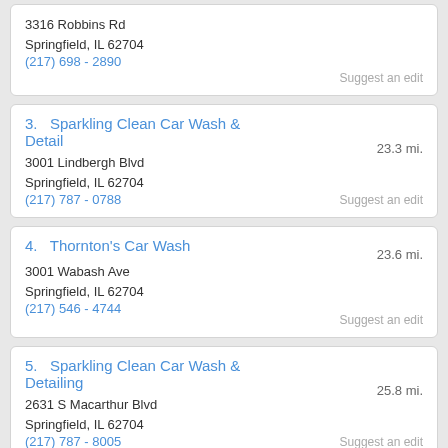3316 Robbins Rd
Springfield, IL 62704
(217) 698 - 2890
Suggest an edit
3.   Sparkling Clean Car Wash & Detail
3001 Lindbergh Blvd
Springfield, IL 62704
(217) 787 - 0788
23.3 mi.
Suggest an edit
4.   Thornton's Car Wash
3001 Wabash Ave
Springfield, IL 62704
(217) 546 - 4744
23.6 mi.
Suggest an edit
5.   Sparkling Clean Car Wash & Detailing
2631 S Macarthur Blvd
Springfield, IL 62704
(217) 787 - 8005
25.8 mi.
Suggest an edit
6.   Wareco Car Wash Inc
1005 S East St
Jacksonville, IL 62650
(217) 245 - 8110
11.5 mi.